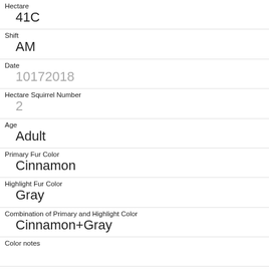Hectare
41C
Shift
AM
Date
10172018
Hectare Squirrel Number
2
Age
Adult
Primary Fur Color
Cinnamon
Highlight Fur Color
Gray
Combination of Primary and Highlight Color
Cinnamon+Gray
Color notes
Location
Ground Plane
Above Ground Sighter Measurement